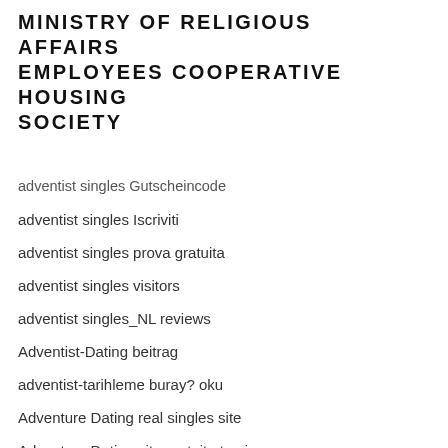MINISTRY OF RELIGIOUS AFFAIRS EMPLOYEES COOPERATIVE HOUSING SOCIETY
adventist singles Gutscheincode
adventist singles Iscriviti
adventist singles prova gratuita
adventist singles visitors
adventist singles_NL reviews
Adventist-Dating beitrag
adventist-tarihleme buray? oku
Adventure Dating real singles site
Adventure Dating site gratuit et unique
Affair Alert review